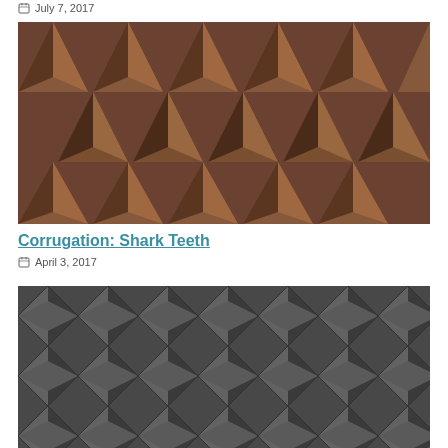July 7, 2017
[Figure (photo): Close-up photo of brown corrugated acoustic foam panels shaped like shark teeth or pyramid spikes]
Corrugation: Shark Teeth
April 3, 2017
[Figure (photo): Close-up photo of dark grey/charcoal woven or corrugated textile material with a diamond/basket weave pattern]